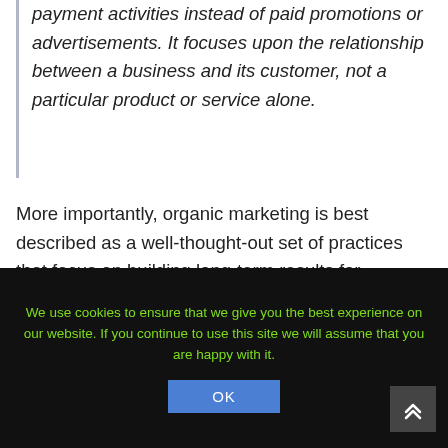payment activities instead of paid promotions or advertisements. It focuses upon the relationship between a business and its customer, not a particular product or service alone.
More importantly, organic marketing is best described as a well-thought-out set of practices that focus on building long-term results for businesses instead of a short-term spike in revenue.
One of the fundamental principles behind organic
We use cookies to ensure that we give you the best experience on our website. If you continue to use this site we will assume that you are happy with it.